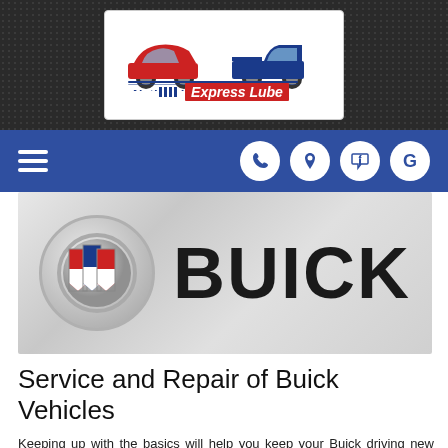[Figure (logo): National Brake & Muffler Express Lube logo with red sedan and blue pickup truck above the company name in stylized blue and red text on white background]
[Figure (screenshot): Navigation bar with hamburger menu icon on left and four circular icon buttons (phone, location, Facebook, Google) on right, on blue background]
[Figure (logo): Buick brand banner with Buick tri-shield logo in a circular chrome emblem on the left and the word BUICK in large bold dark letters on the right, on a silver gradient background]
Service and Repair of Buick Vehicles
Keeping up with the basics will help you keep your Buick driving new longer.  If you own a Buick, you expect high quality at great prices.  At National Brake & Muffler in Griffin we think you should have